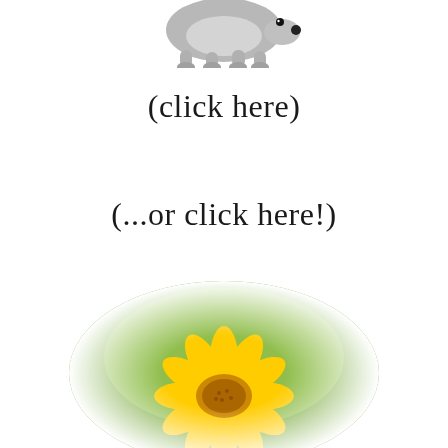[Figure (illustration): Partial cartoon illustration of a small grey mouse/rat animal at the very top of the page, only the lower body and feet visible]
(click here)
(...or click here!)
[Figure (photo): A bright yellow daisy/sunflower photographed close-up against a soft blurred green background, presented in an oval vignette shape]